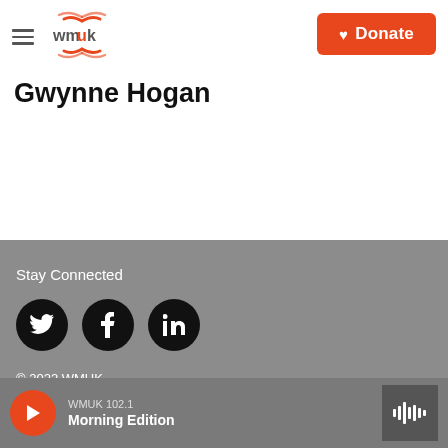WMUK — Donate
Gwynne Hogan
Stay Connected
[Figure (other): Social media icons: Twitter, Facebook, LinkedIn as black circles with white icons]
© 2022 WMUK
WMUK FCC Public File
WMUK 102.1 Morning Edition